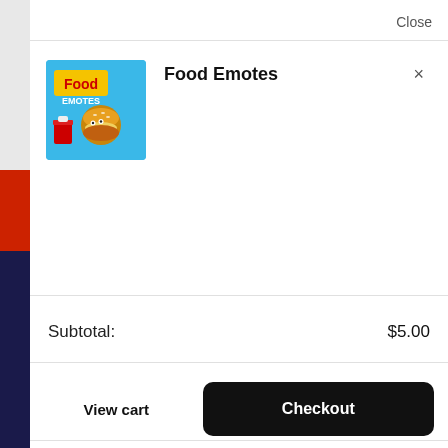Close
[Figure (illustration): Food Emotes app icon: blue background with cartoon food characters including a hamburger, the word 'Food Emotes' in yellow text]
Food Emotes
×
Subtotal:
$5.00
View cart
Checkout